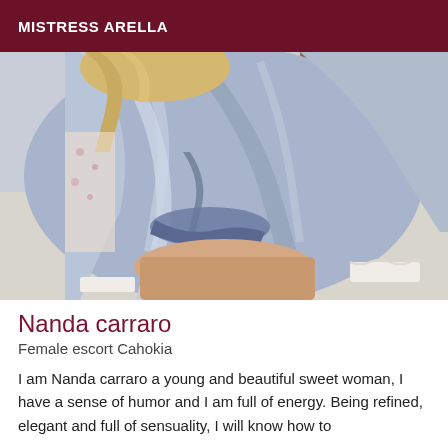MISTRESS ARELLA
[Figure (photo): A woman wearing a light blue satin robe with lace trim, seated on a bed with white bedding, photographed from behind/side angle showing the robe fabric draped around her.]
Nanda carraro
Female escort Cahokia
I am Nanda carraro a young and beautiful sweet woman, I have a sense of humor and I am full of energy. Being refined, elegant and full of sensuality, I will know how to